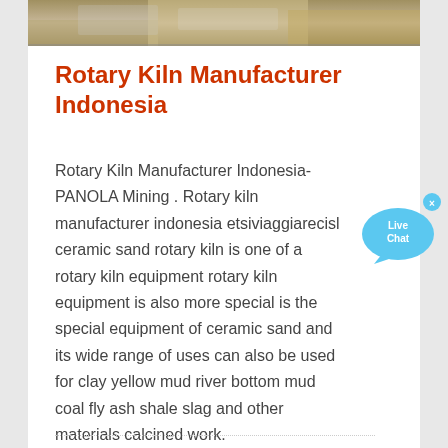[Figure (photo): Partial photo strip at top showing industrial equipment or materials, yellowish-brown tones]
Rotary Kiln Manufacturer Indonesia
Rotary Kiln Manufacturer Indonesia- PANOLA Mining . Rotary kiln manufacturer indonesia etsiviaggiarecisl ceramic sand rotary kiln is one of a rotary kiln equipment rotary kiln equipment is also more special is the special equipment of ceramic sand and its wide range of uses can also be used for clay yellow mud river bottom mud coal fly ash shale slag and other materials calcined work.
[Figure (illustration): Live Chat bubble widget in blue with 'Live Chat' text and a close button]